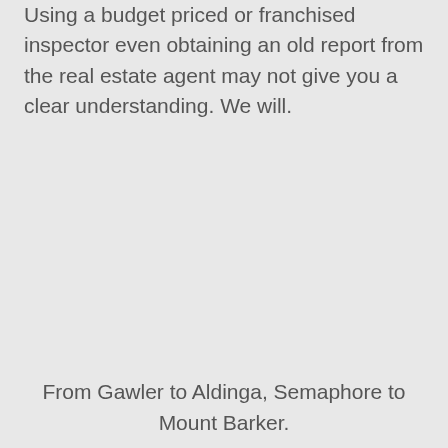Using a budget priced or franchised inspector even obtaining an old report from the real estate agent may not give you a clear understanding. We will.
From Gawler to Aldinga, Semaphore to Mount Barker.